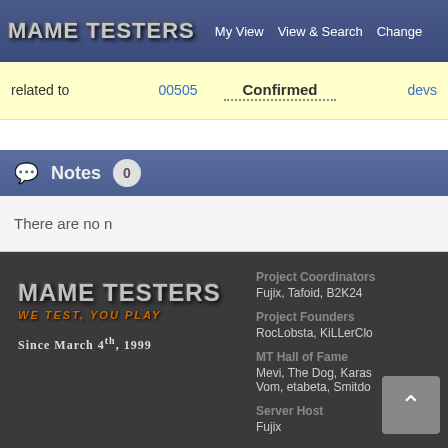MAME TESTERS — My View | View & Search | Change
| related to | 00505 | Confirmed | devs |
| --- | --- | --- | --- |
| related to | 00505 | Confirmed | devs |
Notes 0
There are no n
[Figure (logo): MAME Testers logo with tagline 'We Test, You Play' and text 'Since March 4th, 1999']
Project Coordinators
Fujix, Tafoid, B2K24
Project Founders
RocLobsta, KiLLerClo
MT Hall of Fame
Mevi, The Dog, Karas, Vom, etabeta, Smitdo
Server Host
Fujix